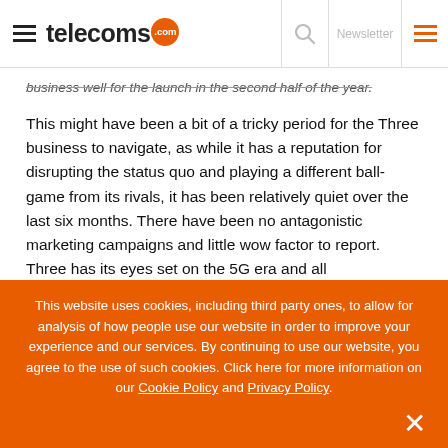telecoms.com — Newsletter
business well for the launch in the second half of the year.
This might have been a bit of a tricky period for the Three business to navigate, as while it has a reputation for disrupting the status quo and playing a different ball-game from its rivals, it has been relatively quiet over the last six months. There have been no antagonistic marketing campaigns and little wow factor to report. Three has its eyes set on the 5G era and all
This website uses cookies, including third party ones, to allow for analysis of how people use our website in order to improve your experience and our services. By continuing to use our website, you agree to the use of such cookies. Click here for more information on our Cookie Policy and Privacy Policy.